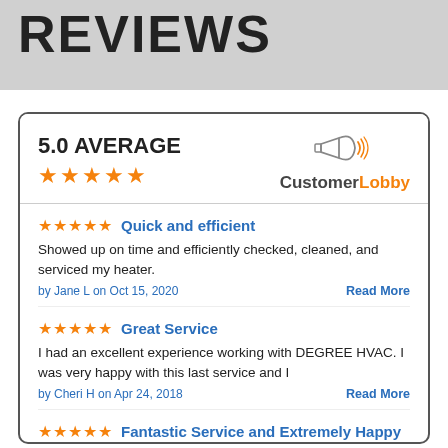REVIEWS
5.0 AVERAGE
[Figure (logo): CustomerLobby logo with megaphone icon]
★★★★★ Quick and efficient — Showed up on time and efficiently checked, cleaned, and serviced my heater. by Jane L on Oct 15, 2020 — Read More
★★★★★ Great Service — I had an excellent experience working with DEGREE HVAC. I was very happy with this last service and I — by Cheri H on Apr 24, 2018 — Read More
★★★★★ Fantastic Service and Extremely Happy — Degree HVAC did a fantastic job! They installed...